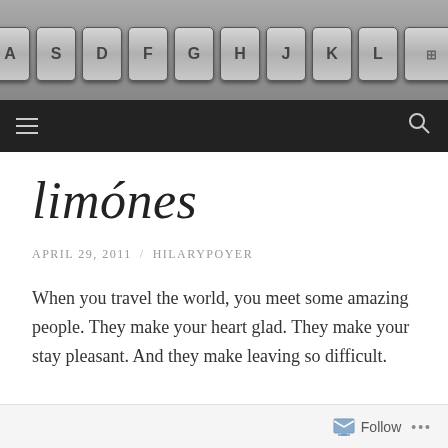[Figure (photo): Black and white photo of a keyboard with letter keys A S D F G H J K L visible at the top]
Navigation bar with hamburger menu and search icon
limónes
APRIL 29, 2011 / HILARYPOYER
When you travel the world, you meet some amazing people. They make your heart glad. They make your stay pleasant. And they make leaving so difficult.
Follow ...